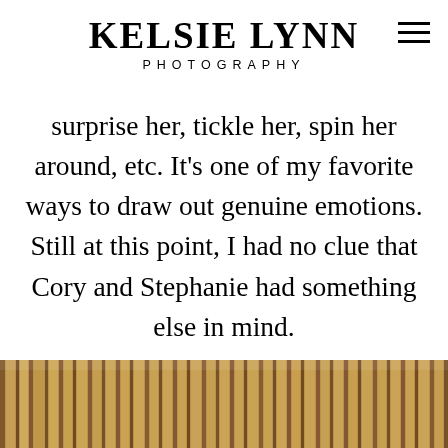KELSIE LYNN PHOTOGRAPHY
surprise her, tickle her, spin her around, etc. It’s one of my favorite ways to draw out genuine emotions. Still at this point, I had no clue that Cory and Stephanie had something else in mind.
[Figure (photo): Close-up photo of wooden bamboo or reed stalks with warm golden-brown tones, partially visible at the bottom of the page.]